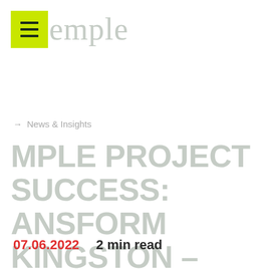emple
→  News & Insights
MPLE PROJECT SUCCESS: ANSFORM KINGSTON – NGSTON LEISURE AND MMUNITY BUILDING
07.06.2022   2 min read